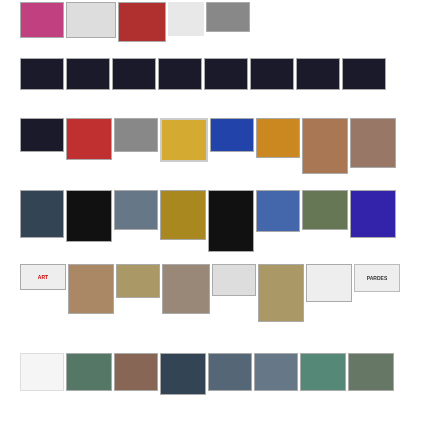[Figure (photo): Grid of thumbnail photos arranged in 7 rows showing various artwork, portraits, menorahs, lecture halls, and gallery scenes]
[Figure (photo): Row 1: website screenshot, group photo with HIT logo, colorful figures artwork, blank space, portrait]
[Figure (photo): Row 2: series of dark lecture hall photos with presentation screens]
[Figure (photo): Row 3: presentation screen, colorful figures, clock, ornate gold emblem, menorah artwork, Hanukkah lights, abstract portraits]
[Figure (photo): Row 4: stage performance, menorah candelabra, group photo, golden menorah blur, portrait, colorful portrait, guitarist, man in blue light]
[Figure (photo): Row 5: art logo, abstract portrait, sculpture, mosaic face, blank, rope sculpture, text document, PARDES logo]
[Figure (photo): Row 6: blank, crowd photos, speaker at event, gallery visitors, studio sessions]